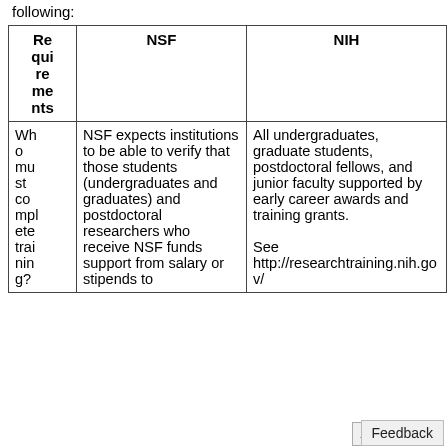following:
| Requirements | NSF | NIH |
| --- | --- | --- |
| Who must complete training? | NSF expects institutions to be able to verify that those students (undergraduates and graduates) and postdoctoral researchers who receive NSF funds support from salary or stipends to | All undergraduates, graduate students, postdoctoral fellows, and junior faculty supported by early career awards and training grants.
See http://researchtraining.nih.gov/ |